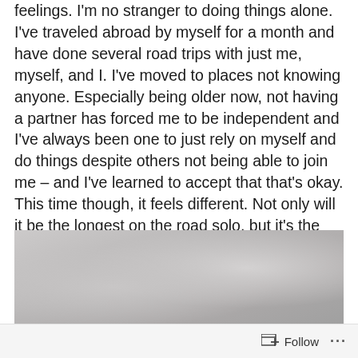feelings. I'm no stranger to doing things alone. I've traveled abroad by myself for a month and have done several road trips with just me, myself, and I. I've moved to places not knowing anyone. Especially being older now, not having a partner has forced me to be independent and I've always been one to just rely on myself and do things despite others not being able to join me – and I've learned to accept that that's okay. This time though, it feels different. Not only will it be the longest on the road solo, but it's the first time I'm sad to leave a community I've built and stability voluntarily.
[Figure (photo): A light grey and white photograph, partially visible, showing soft blurred textures, likely fabric or bedding.]
Follow ···